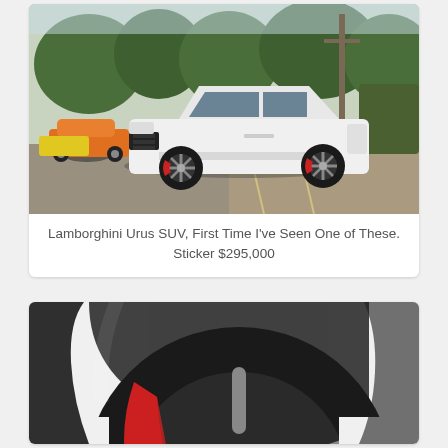[Figure (photo): White Lamborghini Urus SUV parked in a lot with orange and yellow Lamborghinis visible in the background, trees and suburban street setting.]
Lamborghini Urus SUV, First Time I've Seen One of These. Sticker $295,000
[Figure (photo): Close-up of a Lamborghini Urus wheel showing large black multi-spoke alloy wheel with red brake calipers visible, white body panels.]